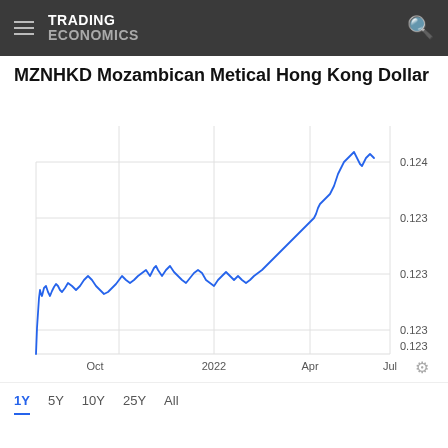TRADING ECONOMICS
MZNHKD Mozambican Metical Hong Kong Dollar
[Figure (continuous-plot): Line chart of MZNHKD (Mozambican Metical to Hong Kong Dollar) exchange rate from approximately August 2021 to July 2022. The line starts very low around 0.122, spikes up sharply early, then fluctuates around 0.1225-0.1230 through Oct 2021, dips slightly, rises through 2022, peaks around 0.1243 near April 2022, then levels off.]
1Y
5Y
10Y
25Y
All